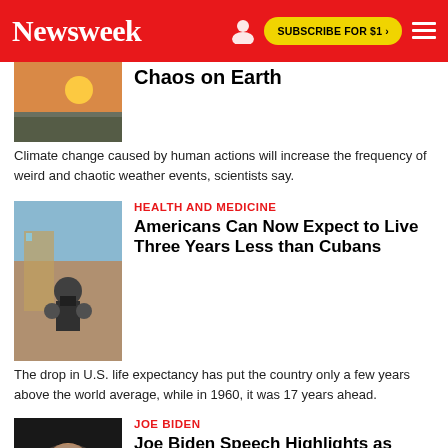Newsweek | SUBSCRIBE FOR $1 >
Chaos on Earth
Climate change caused by human actions will increase the frequency of weird and chaotic weather events, scientists say.
HEALTH AND MEDICINE
Americans Can Now Expect to Live Three Years Less than Cubans
The drop in U.S. life expectancy has put the country only a few years above the world average, while in 1960, it was 17 years ahead.
JOE BIDEN
Joe Biden Speech Highlights as President Goes Guns Blazing After Trump
Biden warned that "MAGA Republicans" represent "an extremism that threatens the very foundations of our republic."